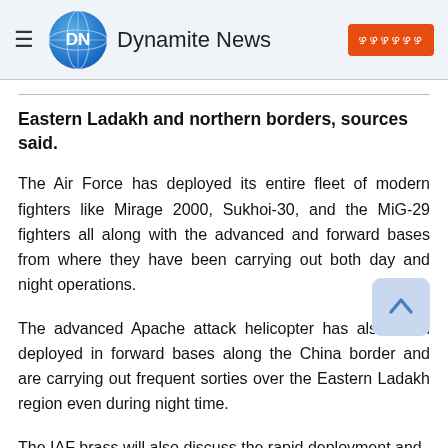Dynamite News
Eastern Ladakh and northern borders, sources said.
The Air Force has deployed its entire fleet of modern fighters like Mirage 2000, Sukhoi-30, and the MiG-29 fighters all along with the advanced and forward bases from where they have been carrying out both day and night operations.
The advanced Apache attack helicopter has also been deployed in forward bases along the China border and are carrying out frequent sorties over the Eastern Ladakh region even during night time.
The IAF brass will also discuss the rapid deployment and